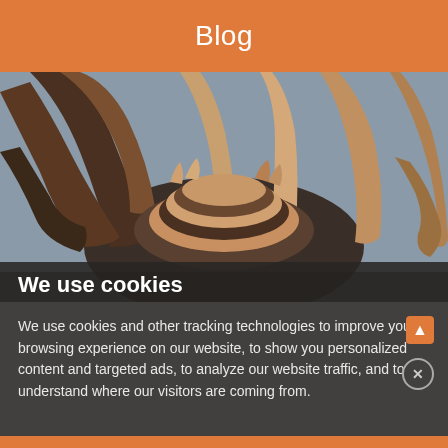Blog
[Figure (photo): Multiple hands of diverse people stacked together in a teamwork gesture, photographed from above against a grey background.]
We use cookies
We use cookies and other tracking technologies to improve your browsing experience on our website, to show you personalized content and targeted ads, to analyze our website traffic, and to understand where our visitors are coming from.